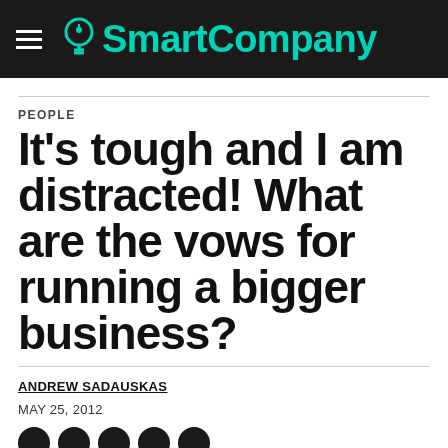SmartCompany
PEOPLE
It’s tough and I am distracted! What are the vows for running a bigger business?
ANDREW SADAUSKAS
MAY 25, 2012